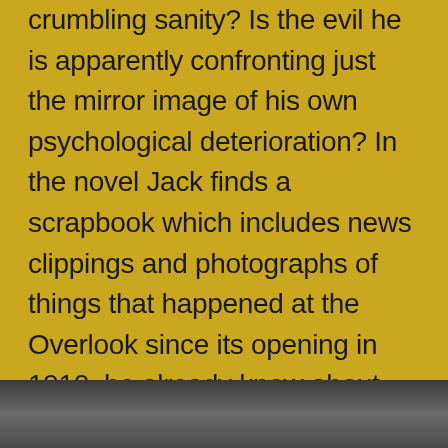crumbling sanity? Is the evil he is apparently confronting just the mirror image of his own psychological deterioration? In the novel Jack finds a scrapbook which includes news clippings and photographs of things that happened at the Overlook since its opening in 1910, he already knew about Grady and maybe Lloyd the barman was a former employee he read about. In the film we see, at one point, the scrapbook sitting on Jack's work table but is never referred to. It seems as if Kubrick, once again, decided that this was too much of an explanation or backstory for the events that followed and that he'd prefer viewers to be left rather more in the dark.
[Figure (photo): Partial image strip at the bottom of the page, showing a dark/shadowed photograph, partially cut off.]